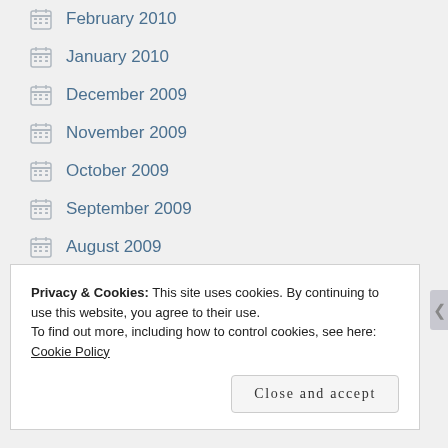February 2010
January 2010
December 2009
November 2009
October 2009
September 2009
August 2009
July 2009
June 2009
May 2009
Privacy & Cookies: This site uses cookies. By continuing to use this website, you agree to their use. To find out more, including how to control cookies, see here: Cookie Policy
Close and accept